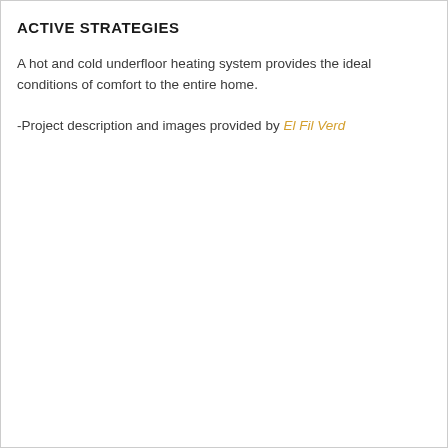ACTIVE STRATEGIES
A hot and cold underfloor heating system provides the ideal conditions of comfort to the entire home.
-Project description and images provided by El Fil Verd